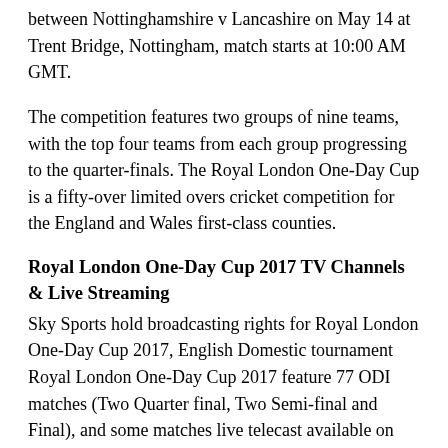between Nottinghamshire v Lancashire on May 14 at Trent Bridge, Nottingham, match starts at 10:00 AM GMT.
The competition features two groups of nine teams, with the top four teams from each group progressing to the quarter-finals. The Royal London One-Day Cup is a fifty-over limited overs cricket competition for the England and Wales first-class counties.
Royal London One-Day Cup 2017 TV Channels & Live Streaming
Sky Sports hold broadcasting rights for Royal London One-Day Cup 2017, English Domestic tournament Royal London One-Day Cup 2017 feature 77 ODI matches (Two Quarter final, Two Semi-final and Final), and some matches live telecast available on Sky Sports 2 HD.
RL – Royal London One-Day Cup 2017 Live Streaming & TV Telecast: Sky Sports 2 HD